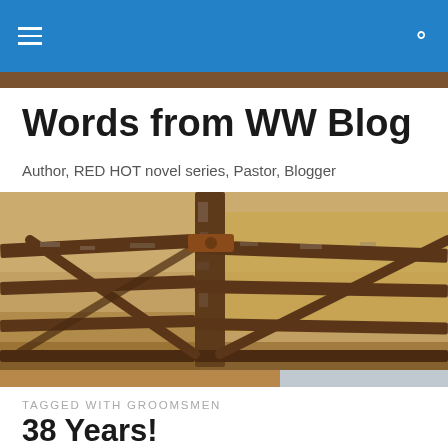Words from WW Blog — navigation bar with hamburger menu and search icon
Words from WW Blog
Author, RED HOT novel series, Pastor, Blogger
[Figure (photo): An old rustic wooden and metal gate in a dry field, photographed close-up with golden grassy background]
TAGGED WITH GROOMSMEN
38 Years!
WORDS FROM W.W.